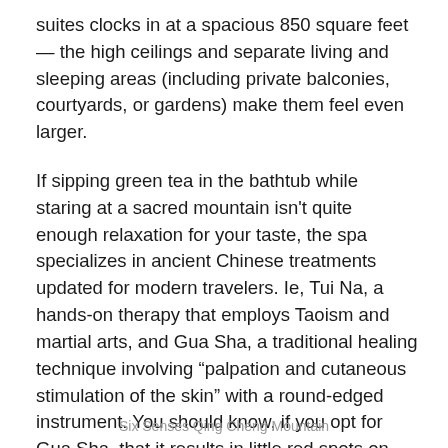suites clocks in at a spacious 850 square feet — the high ceilings and separate living and sleeping areas (including private balconies, courtyards, or gardens) make them feel even larger.
If sipping green tea in the bathtub while staring at a sacred mountain isn't quite enough relaxation for your taste, the spa specializes in ancient Chinese treatments updated for modern travelers. Ie, Tui Na, a hands-on therapy that employs Taoism and martial arts, and Gua Sha, a traditional healing technique involving “palpation and cutaneous stimulation of the skin” with a round-edged instrument. You should know, if you opt for Gua Sha, that it results in little red spots on the skin. But, as they say, “trust us, it’s all good.”
Six Senses Qing Cheng Mountain